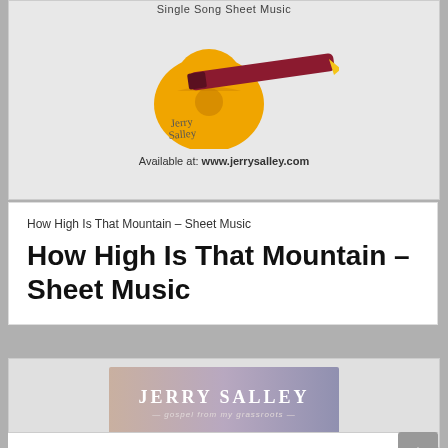[Figure (logo): Jerry Salley Single Song Sheet Music logo with guitar and pen illustration, signature, and text 'Available at: www.jerrysalley.com']
How High Is That Mountain – Sheet Music
How High Is That Mountain – Sheet Music
[Figure (logo): Jerry Salley 'gospel from my grassroots' banner logo with gradient purple/beige background]
Sheet Music